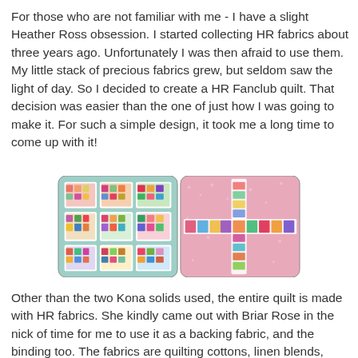For those who are not familiar with me - I have a slight Heather Ross obsession. I started collecting HR fabrics about three years ago. Unfortunately I was then afraid to use them. My little stack of precious fabrics grew, but seldom saw the light of day. So I decided to create a HR Fanclub quilt. That decision was easier than the one of just how I was going to make it. For such a simple design, it took me a long time to come up with it!
[Figure (photo): Two photos of a quilt side by side. Left photo shows the front of the quilt with a light blue/teal background and 9 white-bordered blocks filled with colorful Heather Ross fabric squares. Right photo shows the back of the quilt with a pink floral fabric and a cross/plus pattern made of colorful small squares.]
Other than the two Kona solids used, the entire quilt is made with HR fabrics. She kindly came out with Briar Rose in the nick of time for me to use it as a backing fabric, and the binding too. The fabrics are quilting cottons, linen blends,